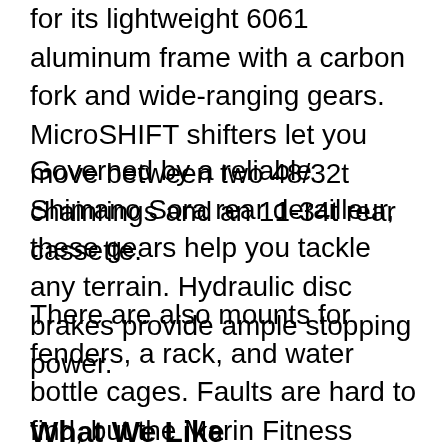for its lightweight 6061 aluminum frame with a carbon fork and wide-ranging gears. MicroSHIFT shifters let you move between two 48/32t chainrings and an 11-34t rear cassette.
Governed by a reliable Shimano Sora rear derailleur, these gears help you tackle any terrain. Hydraulic disc brakes provide ample stopping power.
There are also mounts for fenders, a rack, and water bottle cages. Faults are hard to find, but the Marin Fitness Plush saddle will prove too squishy for some.
What We Like